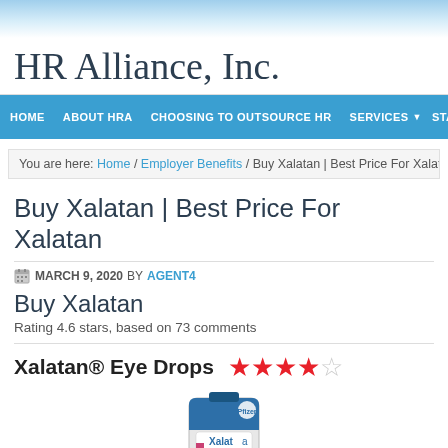HR Alliance, Inc.
HOME | ABOUT HRA | CHOOSING TO OUTSOURCE HR | SERVICES | START H
You are here: Home / Employer Benefits / Buy Xalatan | Best Price For Xalatan
Buy Xalatan | Best Price For Xalatan
MARCH 9, 2020 BY AGENT4
Buy Xalatan
Rating 4.6 stars, based on 73 comments
Xalatan® Eye Drops ★★★★☆
[Figure (photo): Photo of Xalatan eye drops bottle (Pfizer brand, blue and white packaging)]